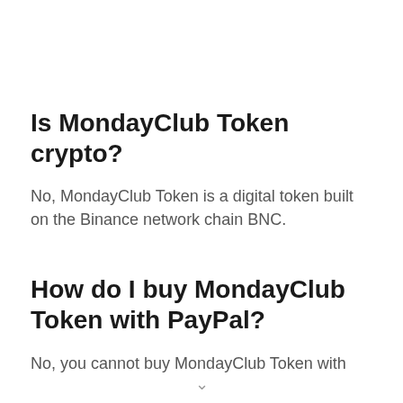Is MondayClub Token crypto?
No, MondayClub Token is a digital token built on the Binance network chain BNC.
How do I buy MondayClub Token with PayPal?
No, you cannot buy MondayClub Token with